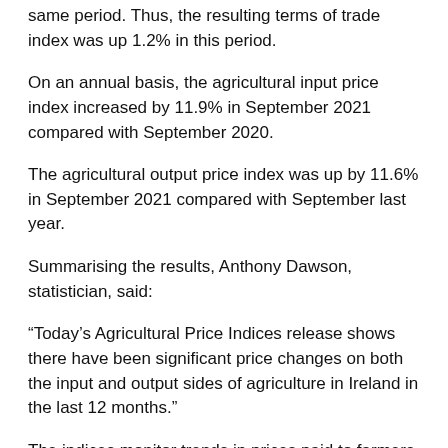same period. Thus, the resulting terms of trade index was up 1.2% in this period.
On an annual basis, the agricultural input price index increased by 11.9% in September 2021 compared with September 2020.
The agricultural output price index was up by 11.6% in September 2021 compared with September last year.
Summarising the results, Anthony Dawson, statistician, said:
“Today’s Agricultural Price Indices release shows there have been significant price changes on both the input and output sides of agriculture in Ireland in the last 12 months.”
The indices monitor trends in prices paid to farmers for their produce and in prices paid by farmers for purchases of goods and services.